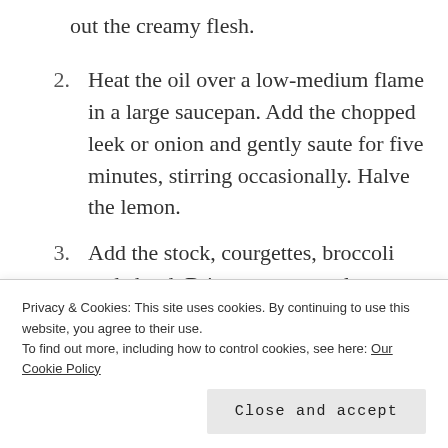out the creamy flesh.
2. Heat the oil over a low-medium flame in a large saucepan. Add the chopped leek or onion and gently saute for five minutes, stirring occasionally. Halve the lemon.
3. Add the stock, courgettes, broccoli and chard. Bring up to a gentle simmer, pop on the lid
Privacy & Cookies: This site uses cookies. By continuing to use this website, you agree to their use.
To find out more, including how to control cookies, see here: Our Cookie Policy
Close and accept